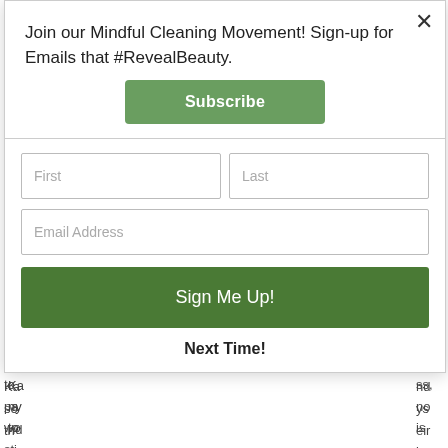Join our Mindful Cleaning Movement! Sign-up for Emails that #RevealBeauty.
Subscribe
First
Last
Email Address
Sign Me Up!
Next Time!
Th... to... pa... wo... is sti...
M...
Ka... nd so... ys th... eir en... is